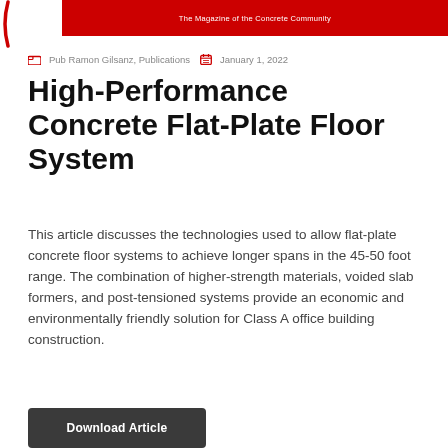The Magazine of the Concrete Community
Pub Ramon Gilsanz, Publications   January 1, 2022
High-Performance Concrete Flat-Plate Floor System
This article discusses the technologies used to allow flat-plate concrete floor systems to achieve longer spans in the 45-50 foot range. The combination of higher-strength materials, voided slab formers, and post-tensioned systems provide an economic and environmentally friendly solution for Class A office building construction.
Download Article